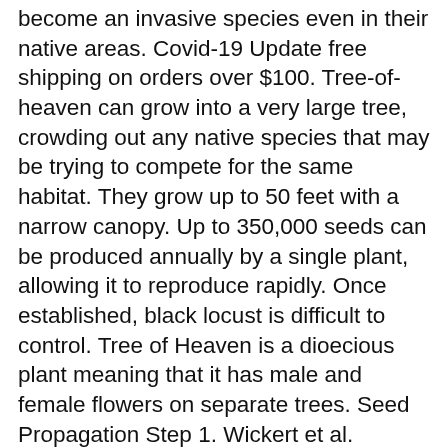become an invasive species even in their native areas. Covid-19 Update free shipping on orders over $100. Tree-of-heaven can grow into a very large tree, crowding out any native species that may be trying to compete for the same habitat. They grow up to 50 feet with a narrow canopy. Up to 350,000 seeds can be produced annually by a single plant, allowing it to reproduce rapidly. Once established, black locust is difficult to control. Tree of Heaven is a dioecious plant meaning that it has male and female flowers on separate trees. Seed Propagation Step 1. Wickert et al. Female trees are prolific seeders with the potential to produce more than 300,000 seeds annually. Tree of heaven ripening seed pods Annemarie Smith, ODNR Division of Forestry, Bugwood.org. Honey locust pods are curved like a banana but have one wavy edge; each pod can hold between 10 to 20 seeds. From there, the tree spread to more than 40 states. The seed germinates best if given a short cold stratification of 8 weeks. Buy Quality Tree Seed Online, High quality tree seed, sensible pricing and prompt dispatch of instock orders. There were 2 tall ones when I moved in, and no sign of trouble for 10 years